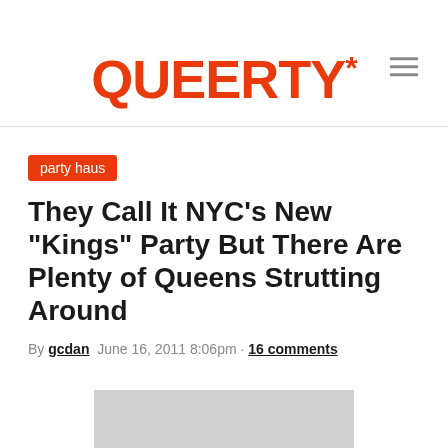QUEERTY*
They Call It NYC’s New “Kings” Party But There Are Plenty of Queens Strutting Around
By gcdan  June 16, 2011 8:06pm · 16 comments
[Figure (photo): Partially visible photo at the bottom of the page, cut off]